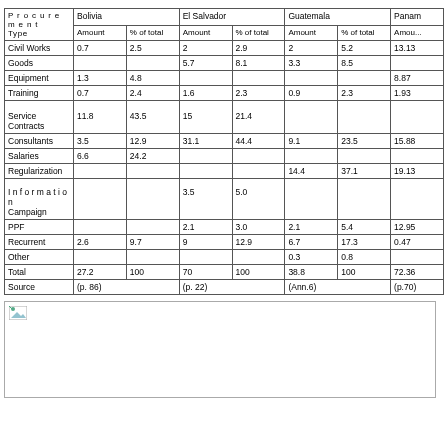| Procurement Type | Bolivia Amount | Bolivia % of total | El Salvador Amount | El Salvador % of total | Guatemala Amount | Guatemala % of total | Panama Amount |
| --- | --- | --- | --- | --- | --- | --- | --- |
| Source | Amount | % of total | Amount | % of total | Amount | % of total | Amou... |
| Civil Works | 0.7 | 2.5 | 2 | 2.9 | 2 | 5.2 | 13.13 |
| Goods |  |  | 5.7 | 8.1 | 3.3 | 8.5 |  |
| Equipment | 1.3 | 4.8 |  |  |  |  | 8.87 |
| Training | 0.7 | 2.4 | 1.6 | 2.3 | 0.9 | 2.3 | 1.93 |
| Service Contracts | 11.8 | 43.5 | 15 | 21.4 |  |  |  |
| Consultants | 3.5 | 12.9 | 31.1 | 44.4 | 9.1 | 23.5 | 15.88 |
| Salaries | 6.6 | 24.2 |  |  |  |  |  |
| Regularization |  |  |  |  | 14.4 | 37.1 | 19.13 |
| Information Campaign |  |  | 3.5 | 5.0 |  |  |  |
| PPF |  |  | 2.1 | 3.0 | 2.1 | 5.4 | 12.95 |
| Recurrent | 2.6 | 9.7 | 9 | 12.9 | 6.7 | 17.3 | 0.47 |
| Other |  |  |  |  | 0.3 | 0.8 |  |
| Total | 27.2 | 100 | 70 | 100 | 38.8 | 100 | 72.36 |
| Source | (p. 86) |  | (p. 22) |  | (Ann.6) |  | (p.70) |
[Figure (other): Placeholder image box with broken image icon in top-left corner]